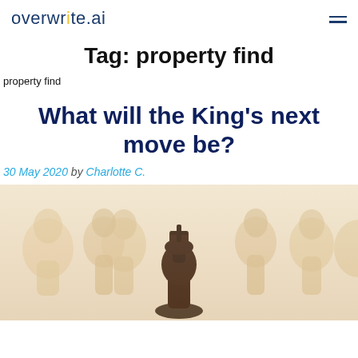overwrite.ai
Tag: property find
property find
What will the King's next move be?
30 May 2020 by Charlotte C.
[Figure (photo): A dark chess king piece surrounded by lighter-colored pawn pieces in the background, slightly blurred, on a white surface.]